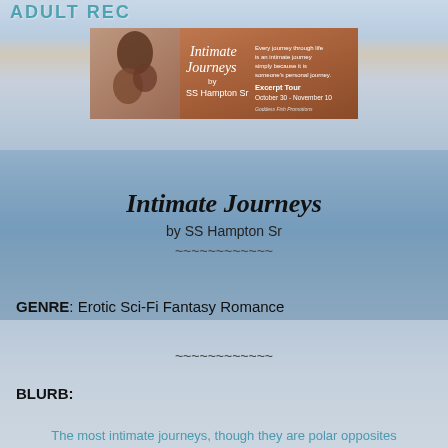ADULT REC
[Figure (illustration): Book banner for 'Intimate Journeys by SS Hampton Sr' showing a couple embracing on an amber/golden background with text: 'Every journey through life is an intimate journey simply because it is someone's personal journey.' and 'Excerpt Tour October 30 - November 10'. Logo: Goddess Fish Promotions.]
Intimate Journeys by SS Hampton Sr
~~~~~~~~~~~~
GENRE: Erotic Sci-Fi Fantasy Romance
~~~~~~~~~~~~
BLURB:
The most intimate journeys, though they are polar opposites